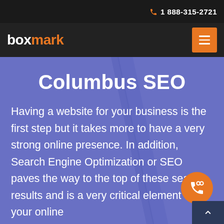1 888-315-2721
[Figure (logo): Boxmark logo with 'box' in white and 'mark' in orange, with hamburger menu button in orange on the right]
Columbus SEO
Having a website for your business is the first step but it takes more to have a very strong online presence. In addition, Search Engine Optimization or SEO paves the way to the top of these search results and is a very critical element to your online